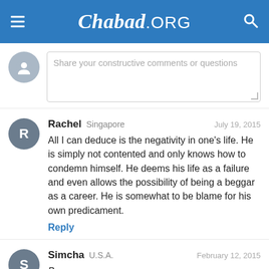Chabad.ORG
Share your constructive comments or questions
Rachel  Singapore  July 19, 2015
All I can deduce is the negativity in one's life. He is simply not contented and only knows how to condemn himself. He deems his life as a failure and even allows the possibility of being a beggar as a career. He is somewhat to be blame for his own predicament.
Reply
Simcha  U.S.A.  February 12, 2015
Beggars